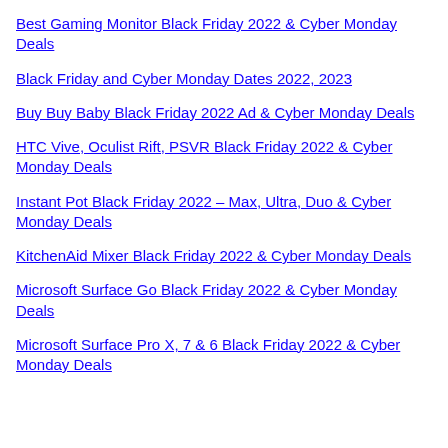Best Gaming Monitor Black Friday 2022 & Cyber Monday Deals
Black Friday and Cyber Monday Dates 2022, 2023
Buy Buy Baby Black Friday 2022 Ad & Cyber Monday Deals
HTC Vive, Oculist Rift, PSVR Black Friday 2022 & Cyber Monday Deals
Instant Pot Black Friday 2022 – Max, Ultra, Duo & Cyber Monday Deals
KitchenAid Mixer Black Friday 2022 & Cyber Monday Deals
Microsoft Surface Go Black Friday 2022 & Cyber Monday Deals
Microsoft Surface Pro X, 7 & 6 Black Friday 2022 & Cyber Monday Deals